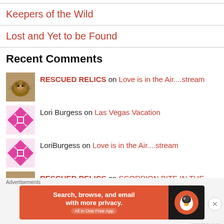Keepers of the Wild
Lost and Yet to be Found
Recent Comments
RESCUED RELICS on Love is in the Air....stream
Lori Burgess on Las Vegas Vacation
LoriBurgess on Love is in the Air....stream
RESCUED RELICS on SCORPION BITE IN THE MIDDLE OF...
Advertisements
[Figure (other): DuckDuckGo advertisement banner: Search, browse, and email with more privacy. All in One Free App]